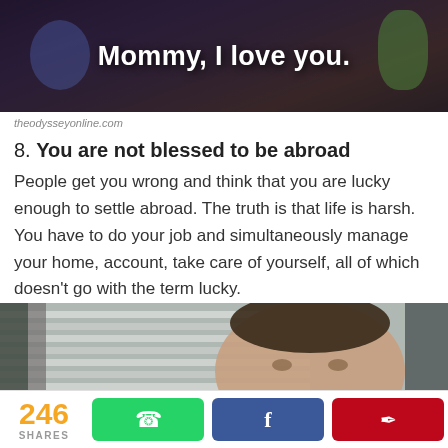[Figure (photo): Screenshot from a video or meme with text overlay 'Mommy, I love you.' on a dark background with colorful blurred figures]
theodysseyonline.com
8. You are not blessed to be abroad
People get you wrong and think that you are lucky enough to settle abroad. The truth is that life is harsh. You have to do your job and simultaneously manage your home, account, take care of yourself, all of which doesn't go with the term lucky.
[Figure (photo): Photo of a man (Steve Carell from The Office) looking serious, with window blinds in the background]
246 SHARES